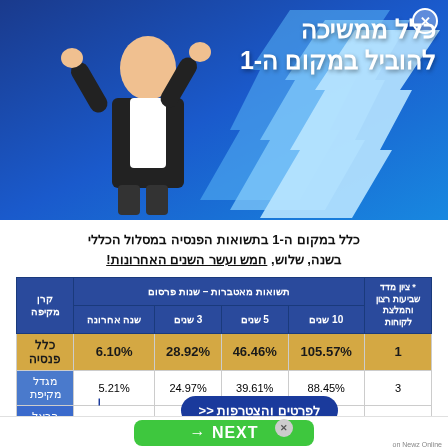[Figure (illustration): Advertising banner with blue background, upward pointing white arrows, and a man in suit with raised fists. Hebrew text overlay.]
כלל ממשיכה להוביל במקום ה-1
כלל במקום ה-1 בתשואות הפנסיה במסלול הכללי בשנה, שלוש, חמש ועשר השנים האחרונות!
| קרן מקיפה | שנה אחרונה | 3 שנים | 5 שנים | 10 שנים | * ציון מדד שביעות רצון והמלצת לקוחות |
| --- | --- | --- | --- | --- | --- |
| כלל פנסיה | 6.10% | 28.92% | 46.46% | 105.57% | 1 |
| מגדל מקיפת | 5.21% | 24.97% | 39.61% | 88.45% | 3 |
| הראל פנסיה | 4.65% | 24.67% | 40.34% | 99.36% | 2 |
| נמרה מנינאים | 4.84% | 23.79% | 40.62% | 95.61% | 4 |
[Figure (logo): כלל ביטוח ופיננסים logo]
לפרטים והצטרפות <<
NEXT →
on Newz Online